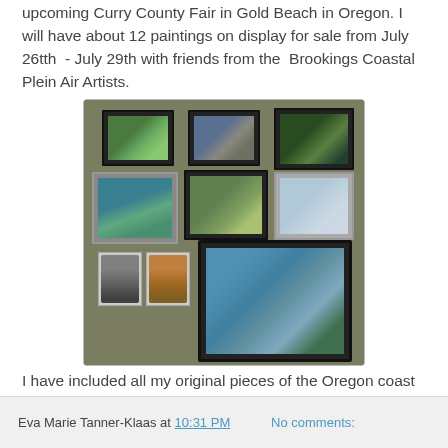upcoming Curry County Fair in Gold Beach in Oregon. I will have about 12 paintings on display for sale from July 26tth  - July 29th with friends from the  Brookings Coastal Plein Air Artists.
[Figure (photo): A photo of multiple framed landscape paintings and two small unframed cat portraits displayed on a table with an olive/green fabric surface. The framed paintings show Oregon coast scenes. Several black-framed paintings are arranged in a grid, with two small cat portrait cards in the lower left.]
I have included all my original pieces of the Oregon coast and a few of my cat paintings.
Here is an example of what will be for sale.
Eva Marie Tanner-Klaas at 10:31 PM    No comments: